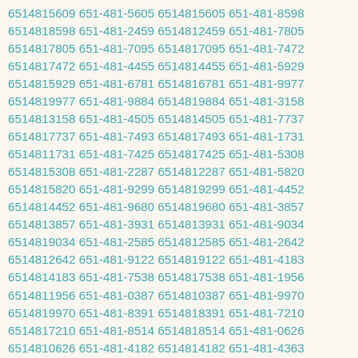6514815609 651-481-5605 6514815605 651-481-8598 6514818598 651-481-2459 6514812459 651-481-7805 6514817805 651-481-7095 6514817095 651-481-7472 6514817472 651-481-4455 6514814455 651-481-5929 6514815929 651-481-6781 6514816781 651-481-9977 6514819977 651-481-9884 6514819884 651-481-3158 6514813158 651-481-4505 6514814505 651-481-7737 6514817737 651-481-7493 6514817493 651-481-1731 6514811731 651-481-7425 6514817425 651-481-5308 6514815308 651-481-2287 6514812287 651-481-5820 6514815820 651-481-9299 6514819299 651-481-4452 6514814452 651-481-9680 6514819680 651-481-3857 6514813857 651-481-3931 6514813931 651-481-9034 6514819034 651-481-2585 6514812585 651-481-2642 6514812642 651-481-9122 6514819122 651-481-4183 6514814183 651-481-7538 6514817538 651-481-1956 6514811956 651-481-0387 6514810387 651-481-9970 6514819970 651-481-8391 6514818391 651-481-7210 6514817210 651-481-8514 6514818514 651-481-0626 6514810626 651-481-4182 6514814182 651-481-4363 6514814363 651-481-4824 6514814824 651-481-2646 6514812646 651-481-6452 6514816452 651-481-1538 6514811538 651-481-7275 6514817275 651-481-8621 6514818621 651-481-4819 6514814819 651-481-3912 6514813912 651-481-6478 6514816478 651-481-6104 6514816104 651-481-6024 6514816024 651-481-7044 6514817044 651-481-5961 6514815961 651-481-0174 6514810174 651-481-7273 6514817273 651-481-3240 6514813240 651-481-2588 6514812588 651-481-0755 6514810755 651-481-9153 6514819153 651-481-2167 6514812167 651-481-5852 6514815852 651-481-0700 6514810700 651-481-6857 6514816857 651-481-4988 6514814988 651-481-0931